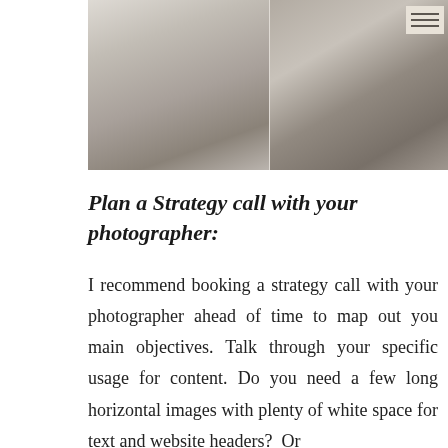[Figure (photo): Two side-by-side photos: left shows a person sitting on a bed working on a laptop, right shows a person in a beige sweater holding a red cup]
Plan a Strategy call with your photographer:
I recommend booking a strategy call with your photographer ahead of time to map out you main objectives. Talk through your specific usage for content. Do you need a few long horizontal images with plenty of white space for text and website headers?  Or